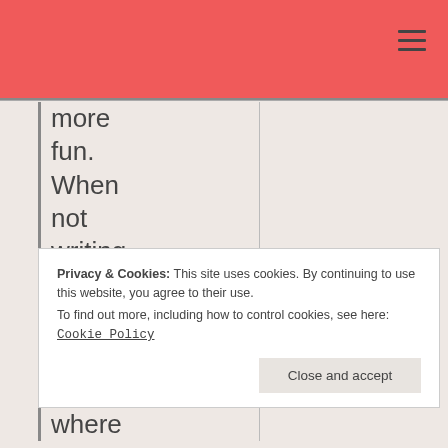more fun. When not writing, she can be found walking
Privacy & Cookies: This site uses cookies. By continuing to use this website, you agree to their use.
To find out more, including how to control cookies, see here: Cookie Policy
Close and accept
where